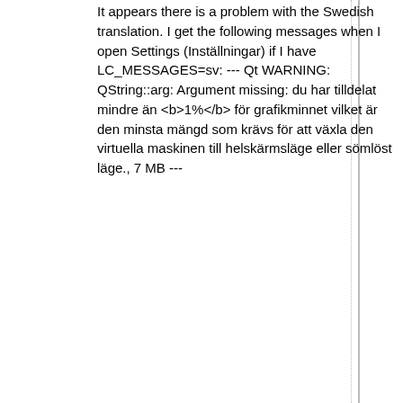It appears there is a problem with the Swedish translation. I get the following messages when I open Settings (Inställningar) if I have LC_MESSAGES=sv: --- Qt WARNING: QString::arg: Argument missing: du har tilldelat mindre än <b>1%</b> för grafikminnet vilket är den minsta mängd som krävs för att växla den virtuella maskinen till helskärmsläge eller sömlöst läge., 7 MB ---
Changed 14  comment:48 in reply to: ↑ 46  years ago by ozzii
Replying to dmik:
Thanks for the good question, ozzii. Here is the important update.

We discontinued the support of the Qt3 frontend a while back and now we removed the source code of this frontend located at src/VBox/Frontends/VirtualBox from the repository. After that, the src/VBox/Frontends/VirtualBox directory was renamed to just src/VBox/Frontends/VirtualBox1D